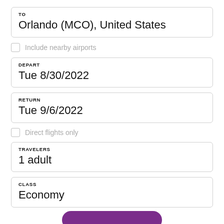TO
Orlando (MCO), United States
Include nearby airports
DEPART
Tue 8/30/2022
RETURN
Tue 9/6/2022
Direct flights only
TRAVELERS
1 adult
CLASS
Economy